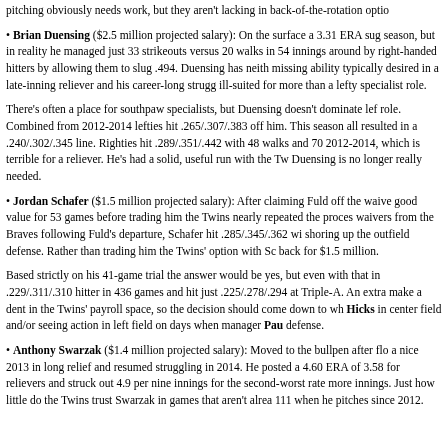pitching obviously needs work, but they aren't lacking in back-of-the-rotation optio
Brian Duensing ($2.5 million projected salary): On the surface a 3.31 ERA sug season, but in reality he managed just 33 strikeouts versus 20 walks in 54 innings around by right-handed hitters by allowing them to slug .494. Duensing has neith missing ability typically desired in a late-inning reliever and his career-long strugg ill-suited for more than a lefty specialist role.
There's often a place for southpaw specialists, but Duensing doesn't dominate lef role. Combined from 2012-2014 lefties hit .265/.307/.383 off him. This season all resulted in a .240/.302/.345 line. Righties hit .289/.351/.442 with 48 walks and 70 2012-2014, which is terrible for a reliever. He's had a solid, useful run with the Tw Duensing is no longer really needed.
Jordan Schafer ($1.5 million projected salary): After claiming Fuld off the waive good value for 53 games before trading him the Twins nearly repeated the proces waivers from the Braves following Fuld's departure, Schafer hit .285/.345/.362 wi shoring up the outfield defense. Rather than trading him the Twins' option with Sc back for $1.5 million.
Based strictly on his 41-game trial the answer would be yes, but even with that in .229/.311/.310 hitter in 436 games and hit just .225/.278/.294 at Triple-A. An extra make a dent in the Twins' payroll space, so the decision should come down to wh Hicks in center field and/or seeing action in left field on days when manager Pau defense.
Anthony Swarzak ($1.4 million projected salary): Moved to the bullpen after flo a nice 2013 in long relief and resumed struggling in 2014. He posted a 4.60 ERA of 3.58 for relievers and struck out 4.9 per nine innings for the second-worst rate more innings. Just how little do the Twins trust Swarzak in games that aren't alrea 111 when he pitches since 2012.